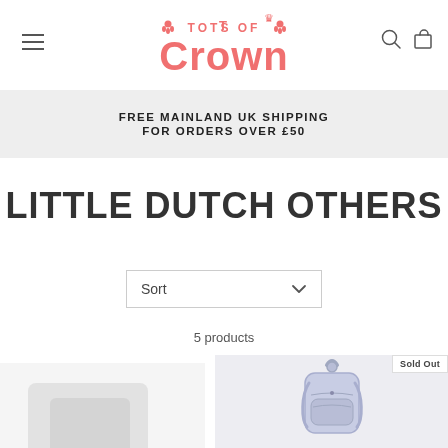[Figure (logo): Tots of Crown logo in pink/coral color with crown icon and footprint icons]
FREE MAINLAND UK SHIPPING FOR ORDERS OVER £50
LITTLE DUTCH OTHERS
Sort
5 products
Sold Out
[Figure (photo): Left product photo partially visible, appears to be a plush or soft toy]
[Figure (photo): Right product photo showing a small silver/iridescent backpack with a handle on top, marked Sold Out]